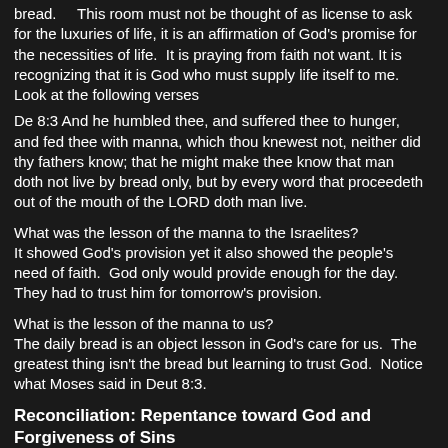bread.     This room must not be thought of as license to ask for the luxuries of life, it is an affirmation of God's promise for the necessities of life.  It is praying from faith not want. It is recognizing that it is God who must supply life itself to me.  Look at the following verses
De 8:3 And he humbled thee, and suffered thee to hunger, and fed thee with manna, which thou knewest not, neither did thy fathers know; that he might make thee know that man doth not live by bread only, but by every word that proceedeth out of the mouth of the LORD doth man live.
What was the lesson of the manna to the Israelites?
It showed God's provision yet it also showed the people's need of faith.  God only would provide enough for the day.  They had to trust him for tomorrow's provision.
What is the lesson of the manna to us?
The daily bread is an object lesson in God's care for us.  The greatest thing isn't the bread but learning to trust God.  Notice what Moses said in Deut 8:3.
Reconciliation: Repentance toward God and Forgiveness of Sins